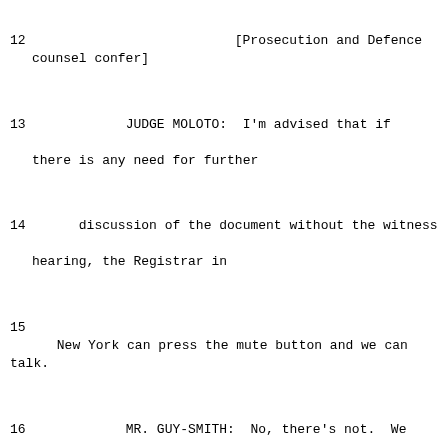12    [Prosecution and Defence counsel confer]
13            JUDGE MOLOTO:  I'm advised that if there is any need for further
14      discussion of the document without the witness hearing, the Registrar in
15      New York can press the mute button and we can talk.
16            MR. GUY-SMITH:  No, there's not.  We have resolved.
17            JUDGE MOLOTO:  Any response, Madam Bolton?
18            MS. BOLTON:  I'll just put on record